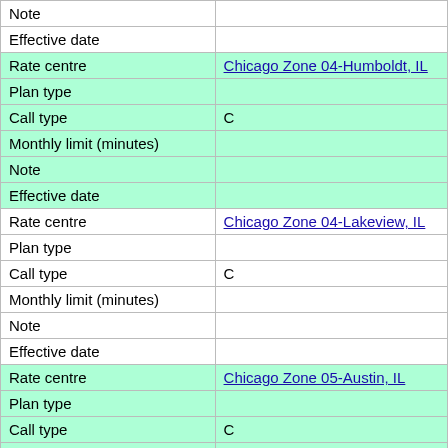| Field | Value |
| --- | --- |
| Note |  |
| Effective date |  |
| Rate centre | Chicago Zone 04-Humboldt, IL |
| Plan type |  |
| Call type | C |
| Monthly limit (minutes) |  |
| Note |  |
| Effective date |  |
| Rate centre | Chicago Zone 04-Lakeview, IL |
| Plan type |  |
| Call type | C |
| Monthly limit (minutes) |  |
| Note |  |
| Effective date |  |
| Rate centre | Chicago Zone 05-Austin, IL |
| Plan type |  |
| Call type | C |
| Monthly limit (minutes) |  |
| Note |  |
| Effective date |  |
| Rate centre | Chicago Zone 05-Merrimac, IL |